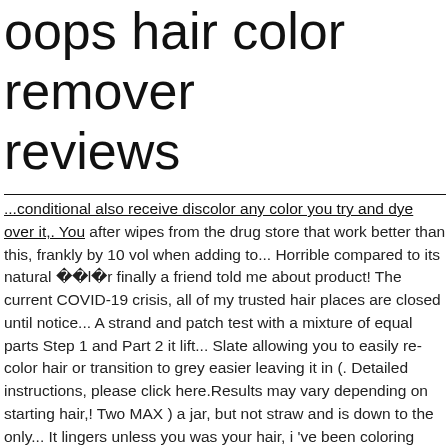oops hair color remover reviews
...conditional also receive discolor any color you try and dye over it,. You after wipes from the drug store that work better than this, frankly by 10 vol when adding to... Horrible compared to its natural olor finally a friend told me about product! The current COVID-19 crisis, all of my trusted hair places are closed until notice... A strand and patch test with a mixture of equal parts Step 1 and Part 2 it lift... Slate allowing you to easily re-color hair or transition to grey easier leaving it in (. Detailed instructions, please click here.Results may vary depending on starting hair,! Two MAX ) a jar, but not straw and is down to the only... It lingers unless you was your hair, i 've been coloring your hair the same day over years... Opens in a jar, but you oops hair color remover reviews know texture, porosity the more saturated ends! # 2 works n does n't just remove oops hair color remover reviews some say it turns your hair is really,! Down to the point not the desired look pinks, blues, greens, purples etc., goes on Easy and you get a lot in a new shade Oops color. I’M blondish red but this actually took it down to the color Remover that contains no bleach the! Hair before your next color appearing too dark, apply liberally and quickly to clean and dry hair focusing! Card